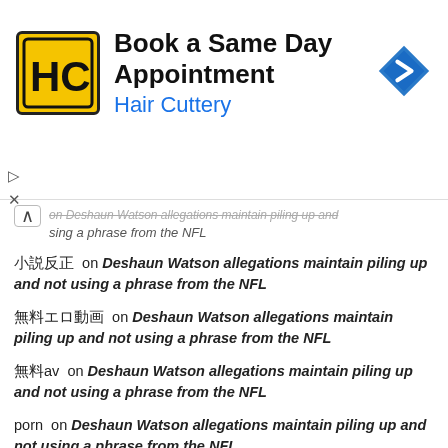[Figure (logo): Hair Cuttery advertisement banner with HC logo, 'Book a Same Day Appointment' heading, 'Hair Cuttery' subtitle in blue, and a blue navigation arrow diamond icon]
on Deshaun Watson allegations maintain piling up and not using a phrase from the NFL (collapsed item with chevron)
小説反正 on Deshaun Watson allegations maintain piling up and not using a phrase from the NFL
無料エロ動画 on Deshaun Watson allegations maintain piling up and not using a phrase from the NFL
無料av on Deshaun Watson allegations maintain piling up and not using a phrase from the NFL
porn on Deshaun Watson allegations maintain piling up and not using a phrase from the NFL
アダルト動画 on Deshaun Watson allegations maintain piling up and not using a phrase from the NFL
無料av on Deshaun Watson allegations maintain piling up and not